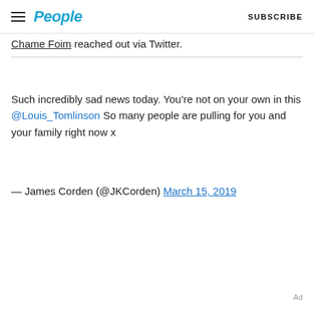People | SUBSCRIBE
Chame Foim reached out via Twitter.
Such incredibly sad news today. You’re not on your own in this @Louis_Tomlinson So many people are pulling for you and your family right now x
— James Corden (@JKCorden) March 15, 2019
Ad